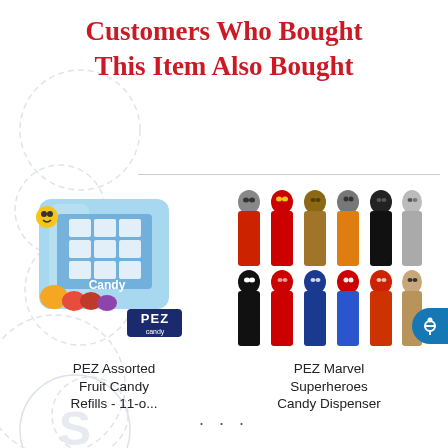Customers Who Bought This Item Also Bought
[Figure (photo): PEZ Assorted Fruit Candy Refills bag product photo]
PEZ Assorted Fruit Candy Refills - 11-o...
[Figure (photo): PEZ Marvel Superheroes Candy Dispenser set product photo showing 10 Marvel character dispensers]
PEZ Marvel Superheroes Candy Dispenser
...